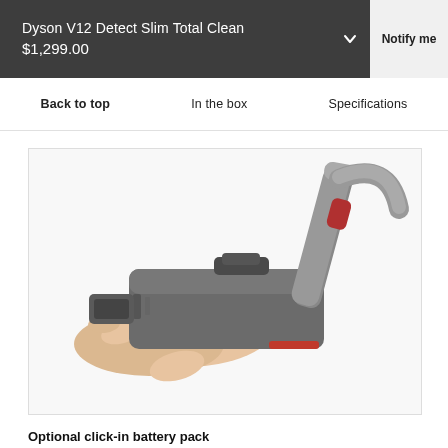Dyson V12 Detect Slim Total Clean
$1,299.00
Notify me
Back to top    In the box    Specifications
[Figure (photo): A hand holding a Dyson V12 Detect Slim battery pack, with the vacuum handle visible in the background.]
Optional click-in battery pack
Remove and replace at the press of a button for even longer cleans.7